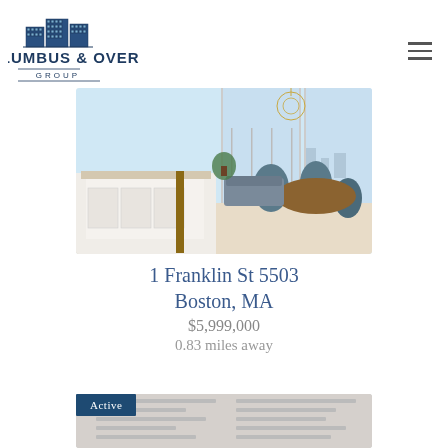[Figure (logo): Columbus & Over Group real estate logo with building illustration above bold text]
[Figure (photo): Interior photo of a luxury high-rise condo with open floor plan kitchen/dining area with floor-to-ceiling windows showing city views]
1 Franklin St 5503
Boston, MA
$5,999,000
0.83 miles away
[Figure (photo): Partial view of a second property listing showing ceiling/interior, with an 'Active' badge overlay]